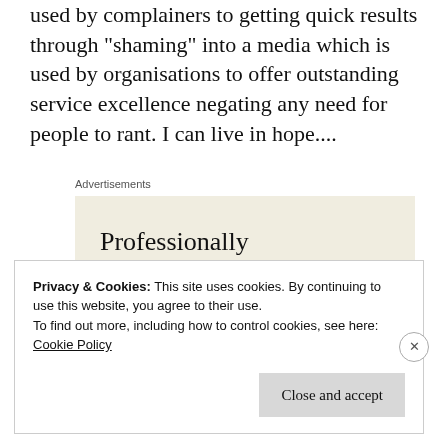used by complainers to getting quick results through “shaming” into a media which is used by organisations to offer outstanding service excellence negating any need for people to rant. I can live in hope....
Advertisements
[Figure (screenshot): Advertisement banner with beige background showing text 'Professionally designed sites in less than a week' with decorative card/letter imagery on the right side.]
Privacy & Cookies: This site uses cookies. By continuing to use this website, you agree to their use.
To find out more, including how to control cookies, see here:
Cookie Policy
Close and accept